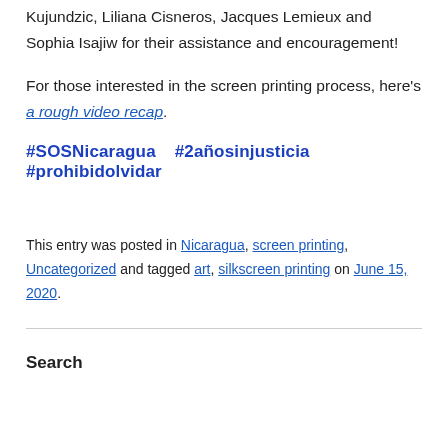Kujundzic, Liliana Cisneros, Jacques Lemieux and Sophia Isajiw for their assistance and encouragement!
For those interested in the screen printing process, here's a rough video recap.
#SOSNicaragua   #2añosinjusticia   #prohibidolvidar
This entry was posted in Nicaragua, screen printing, Uncategorized and tagged art, silkscreen printing on June 15, 2020.
Search